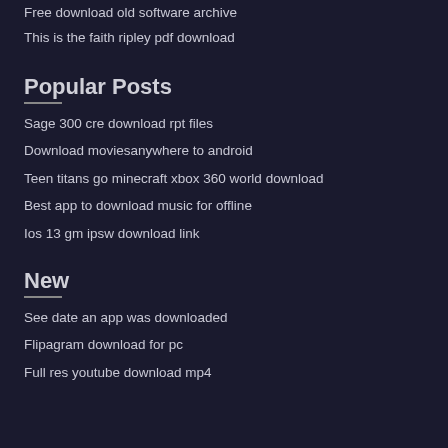Free download old software archive
This is the faith ripley pdf download
Popular Posts
Sage 300 cre download rpt files
Download moviesanywhere to android
Teen titans go minecraft xbox 360 world download
Best app to download music for offline
Ios 13 gm ipsw download link
New
See date an app was downloaded
Flipagram download for pc
Full res youtube download mp4